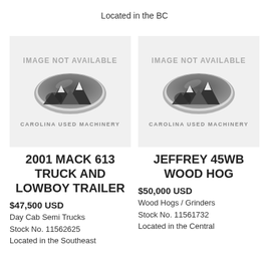Located in the BC
[Figure (logo): IMAGE NOT AVAILABLE placeholder with Carolina Used Machinery oval logo]
2001 MACK 613 TRUCK AND LOWBOY TRAILER
$47,500 USD
Day Cab Semi Trucks
Stock No. 11562625
Located in the Southeast
[Figure (logo): IMAGE NOT AVAILABLE placeholder with Carolina Used Machinery oval logo]
JEFFREY 45WB WOOD HOG
$50,000 USD
Wood Hogs / Grinders
Stock No. 11561732
Located in the Central